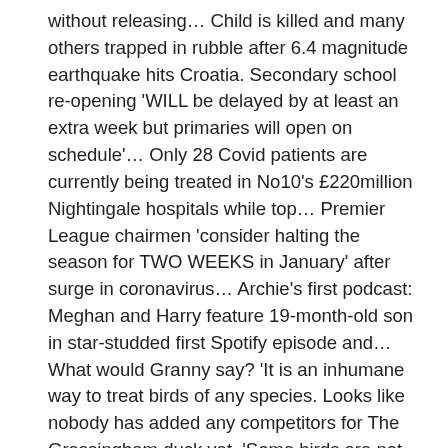without releasing... Child is killed and many others trapped in rubble after 6.4 magnitude earthquake hits Croatia. Secondary school re-opening 'WILL be delayed by at least an extra week but primaries will open on schedule'... Only 28 Covid patients are currently being treated in No10's £220million Nightingale hospitals while top... Premier League chairmen 'consider halting the season for TWO WEEKS in January' after surge in coronavirus... Archie's first podcast: Meghan and Harry feature 19-month-old son in star-studded first Spotify episode and... What would Granny say? 'It is an inhumane way to treat birds of any species. Looks like nobody has added any competitors for The Gressingham duck yet. 'Some birds are not removed from the crates before the crate drops down the conveyor. The findings have led Animal Justice Project and Harry Potter actress Evanna Lynch to call for a ban on duck farming. 'Operatives argue with each other; they are distracted and hence take poor